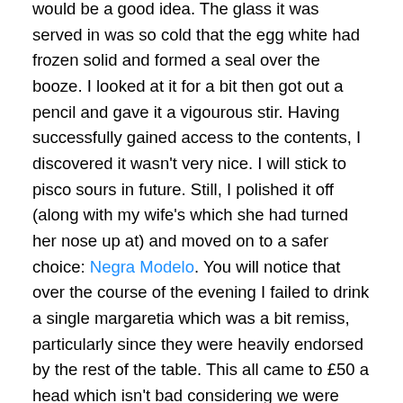would be a good idea. The glass it was served in was so cold that the egg white had frozen solid and formed a seal over the booze. I looked at it for a bit then got out a pencil and gave it a vigourous stir. Having successfully gained access to the contents, I discovered it wasn't very nice. I will stick to pisco sours in future. Still, I polished it off (along with my wife's which she had turned her nose up at) and moved on to a safer choice: Negra Modelo. You will notice that over the course of the evening I failed to drink a single margaretia which was a bit remiss, particularly since they were heavily endorsed by the rest of the table. This all came to £50 a head which isn't bad considering we were eating and drinking constantly for the whole of the evening.
I have been meaning to go to Moro for even longer than Green & Red. However, I am always overcome with this